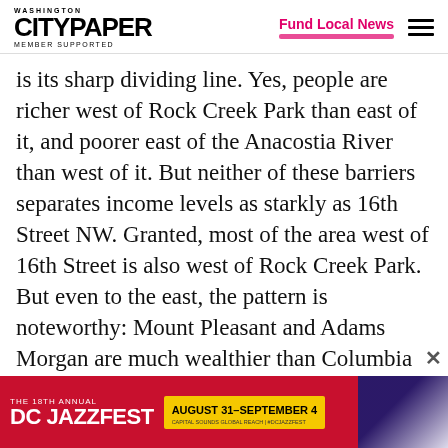WASHINGTON CITYPAPER MEMBER SUPPORTED | Fund Local News
is its sharp dividing line. Yes, people are richer west of Rock Creek Park than east of it, and poorer east of the Anacostia River than west of it. But neither of these barriers separates income levels as starkly as 16th Street NW. Granted, most of the area west of 16th Street is also west of Rock Creek Park. But even to the east, the pattern is noteworthy: Mount Pleasant and Adams Morgan are much wealthier than Columbia Heights, Crestwood is much wealthier than...
[Figure (other): DC Jazzfest advertisement banner: THE 18TH ANNUAL DC JAZZFEST, AUGUST 31–SEPTEMBER 4, CAPITAL SOUNDS GLOBAL REACH | #DCJAZZFEST]